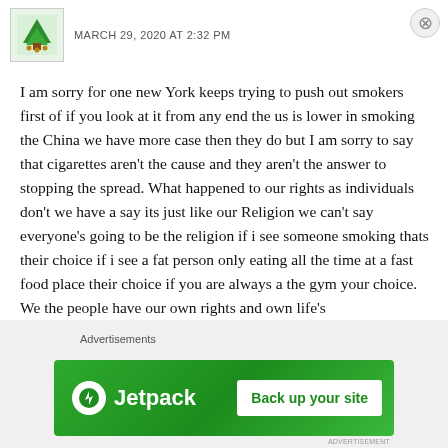MARCH 29, 2020 AT 2:32 PM
I am sorry for one new York keeps trying to push out smokers first of if you look at it from any end the us is lower in smoking the China we have more case then they do but I am sorry to say that cigarettes aren't the cause and they aren't the answer to stopping the spread. What happened to our rights as individuals don't we have a say its just like our Religion we can't say everyone's going to be the religion if i see someone smoking thats their choice if i see a fat person only eating all the time at a fast food place their choice if you are always a the gym your choice. We the people have our own rights and own life's
REPLY
Advertisements
[Figure (screenshot): Jetpack advertisement banner with green background showing Jetpack logo and 'Back up your site' button]